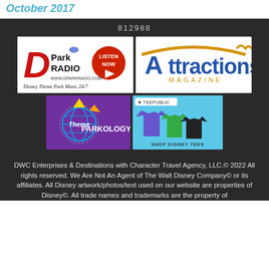October 2017
812988
[Figure (logo): D Park Radio logo - Disney Theme Park Music 24/7 with Listen Now button]
[Figure (logo): Attractions Magazine logo with roller coaster arc]
[Figure (logo): Theme Parkology logo with globe graphic]
[Figure (logo): TeePublic - Shop Disney Tees with t-shirt images]
DWC Enterprises & Destinations with Character Travel Agency, LLC.© 2022 All rights reserved. We Are Not An Agent of The Walt Disney Company© or its affiliates. All Disney artwork/photos/text used on our website are properties of Disney©. All trade names and trademarks are the property of